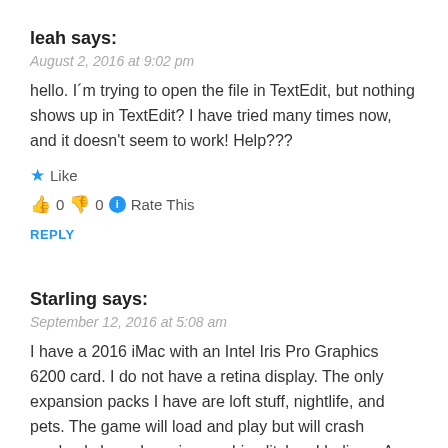leah says:
August 2, 2016 at 9:02 pm
hello. I´m trying to open the file in TextEdit, but nothing shows up in TextEdit? I have tried many times now, and it doesn't seem to work! Help???
★ Like
👍 0 👎 0 ℹ Rate This
REPLY
Starling says:
September 12, 2016 at 5:08 am
I have a 2016 iMac with an Intel Iris Pro Graphics 6200 card. I do not have a retina display. The only expansion packs I have are loft stuff, nightlife, and pets. The game will load and play but will crash randomly based on sim graphic glitches I believe. A sim or a pet